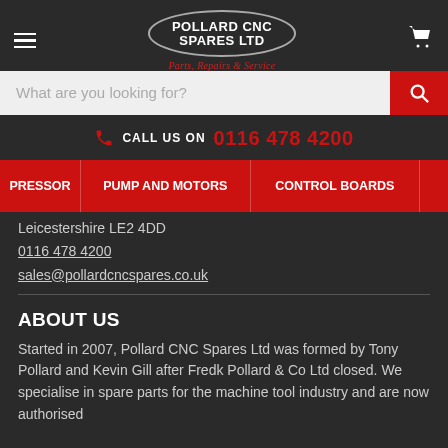[Figure (logo): Pollard CNC Spares Ltd logo — oval border with company name and tagline 'Parts, Repairs & Service']
What are you looking for?
CALL US ON 0116 478 4200
PRESSOR | PUMP AND MOTORS | CONTROL BOARDS
Leicestershire LE2 4DD
0116 478 4200
sales@pollardcncspares.co.uk
ABOUT US
Started in 2007, Pollard CNC Spares Ltd was formed by Tony Pollard and Kevin Gill after Fredk Pollard & Co Ltd closed. We specialise in spare parts for the machine tool industry and are now authorised